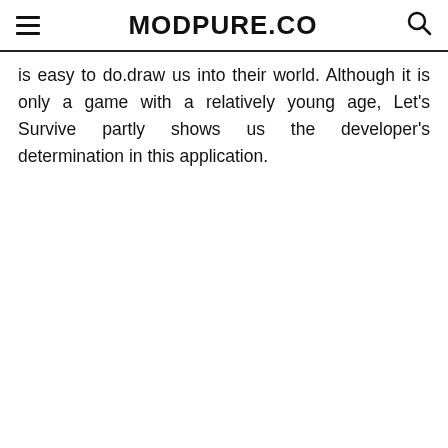MODPURE.CO
is easy to do.draw us into their world. Although it is only a game with a relatively young age, Let’s Survive partly shows us the developer’s determination in this application.